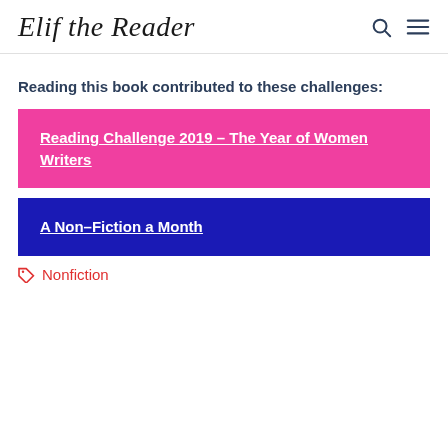Elif the Reader
Reading this book contributed to these challenges:
Reading Challenge 2019 – The Year of Women Writers
A Non-Fiction a Month
Nonfiction